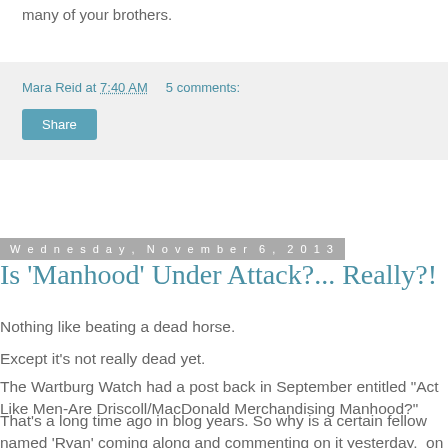many of your brothers.
Mara Reid at 7:40 AM    5 comments:
Share
Wednesday, November 6, 2013
Is 'Manhood' Under Attack?... Really?!
Nothing like beating a dead horse.
Except it's not really dead yet.
The Wartburg Watch had a post back in September entitled "Act Like Men-Are Driscoll/MacDonald Merchandising Manhood?"
That's a long time ago in blog years. So why is a certain fellow named 'Ryan' coming along and commenting on it yesterday,  on November 5th?